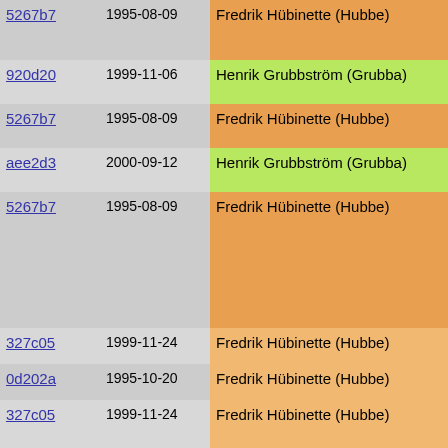| Hash | Date | Author | Code |
| --- | --- | --- | --- |
| 5267b7 | 1995-08-09 | Fredrik Hübinette (Hubbe) | switch(n-
{ |
| 920d20 | 1999-11-06 | Henrik Grubbström (Grubba) | case F_CO |
| 5267b7 | 1995-08-09 | Fredrik Hübinette (Hubbe) | case F_AR |
| aee2d3 | 2000-09-12 | Henrik Grubbström (Grubba) | fatal_ch |
| 5267b7 | 1995-08-09 | Fredrik Hübinette (Hubbe) | low_bui
low_bui
break;

case F_PU
reset_ty |
| 327c05 | 1999-11-24 | Fredrik Hübinette (Hubbe) |  |
| 0d202a | 1995-10-20 | Fredrik Hübinette (Hubbe) | push_ty |
| 327c05 | 1999-11-24 | Fredrik Hübinette (Hubbe) | push_ty
push_ty

push_ty
push_ty
push_ty |
| 5267b7 | 1995-08-09 | Fredrik Hübinette (Hubbe) | push_ty
return;

default: |